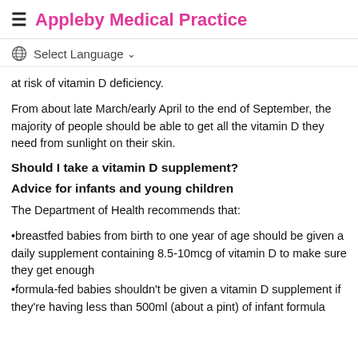≡ Appleby Medical Practice
Select Language ∨
at risk of vitamin D deficiency.
From about late March/early April to the end of September, the majority of people should be able to get all the vitamin D they need from sunlight on their skin.
Should I take a vitamin D supplement?
Advice for infants and young children
The Department of Health recommends that:
breastfed babies from birth to one year of age should be given a daily supplement containing 8.5-10mcg of vitamin D to make sure they get enough
formula-fed babies shouldn't be given a vitamin D supplement if they're having less than 500ml (about a pint) of infant formula a day, as infant formula is fortified with vitamin D